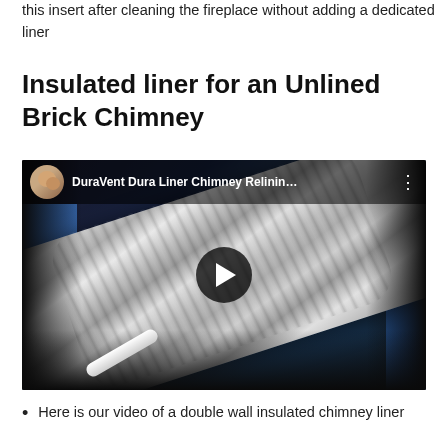this insert after cleaning the fireplace without adding a dedicated liner
Insulated liner for an Unlined Brick Chimney
[Figure (screenshot): YouTube video thumbnail showing a DuraVent Dura Liner chimney relining product — a large silver foil-wrapped flexible liner tube against a blue cloth background, with a play button overlay. Video title reads 'DuraVent Dura Liner Chimney Relinin…']
Here is our video of a double wall insulated chimney liner